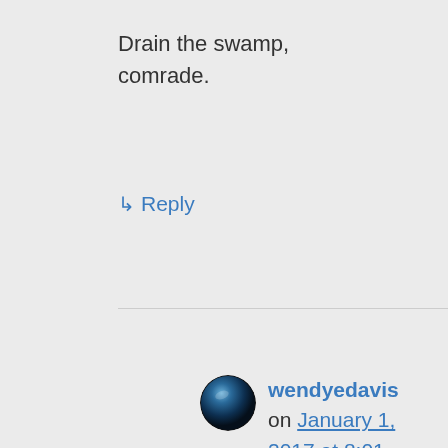Drain the swamp, comrade.
↳ Reply
[Figure (illustration): Dark blue/black gradient sphere avatar for user wendyedavis]
wendyedavis on January 1, 2017 at 8:01 am
wiki says that: 'As an adjective, the word reactionary describes